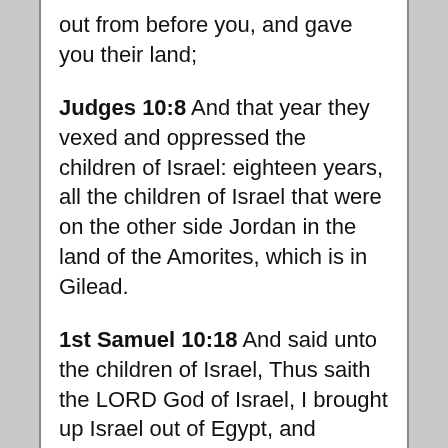out from before you, and gave you their land;
Judges 10:8  And that year they vexed and oppressed the children of Israel: eighteen years, all the children of Israel that were on the other side Jordan in the land of the Amorites, which is in Gilead.
1st Samuel 10:18  And said unto the children of Israel, Thus saith the LORD God of Israel, I brought up Israel out of Egypt, and delivered you out of the hand of the Egyptians, and out of the hand of all kingdoms, and